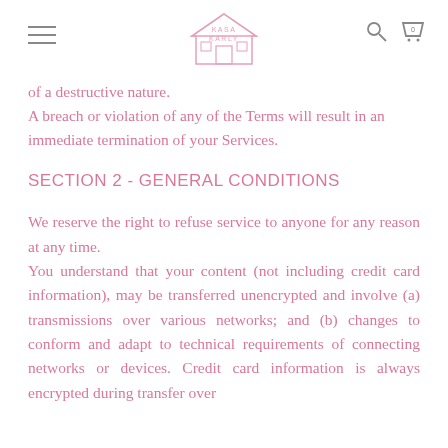KASA KARLY [logo with hamburger menu, search icon, cart icon]
of a destructive nature.
A breach or violation of any of the Terms will result in an immediate termination of your Services.
SECTION 2 - GENERAL CONDITIONS
We reserve the right to refuse service to anyone for any reason at any time.
You understand that your content (not including credit card information), may be transferred unencrypted and involve (a) transmissions over various networks; and (b) changes to conform and adapt to technical requirements of connecting networks or devices. Credit card information is always encrypted during transfer over